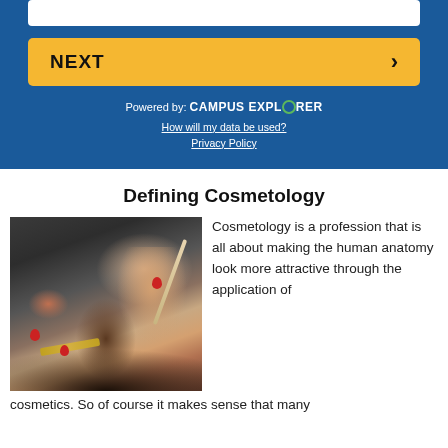[Figure (screenshot): Blue UI panel with NEXT button and Campus Explorer branding]
Defining Cosmetology
[Figure (photo): Close-up photo of a cosmetologist cutting or styling hair with scissors and comb, with red-nailed hands visible]
Cosmetology is a profession that is all about making the human anatomy look more attractive through the application of cosmetics. So of course it makes sense that many